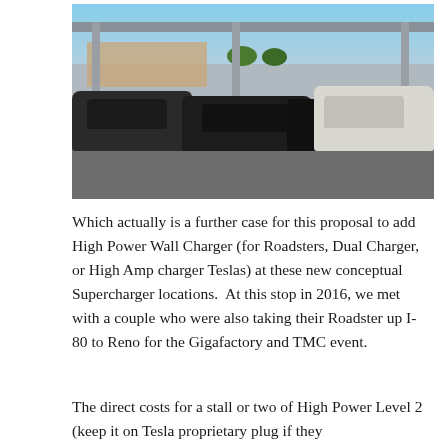[Figure (photo): Outdoor Tesla Supercharger station with canopy roof supported by metal columns. Several Tesla vehicles (dark colored sedans/SUVs and one white SUV) are parked in the charging stalls. Background shows a commercial building, trees, and blue sky.]
Which actually is a further case for this proposal to add High Power Wall Charger (for Roadsters, Dual Charger, or High Amp charger Teslas) at these new conceptual Supercharger locations.  At this stop in 2016, we met with a couple who were also taking their Roadster up I-80 to Reno for the Gigafactory and TMC event.
The direct costs for a stall or two of High Power Level 2 (keep it on Tesla proprietary plug if they